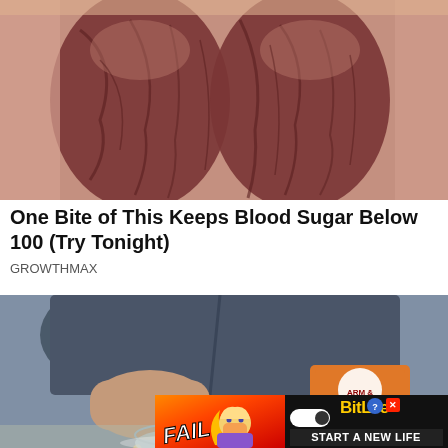[Figure (photo): Close-up photo of what appears to be swollen or darkened bare feet/toes with a reddish-brown, wrinkled texture.]
One Bite of This Keeps Blood Sugar Below 100 (Try Tonight)
GROWTHMAX
[Figure (photo): A person wearing a denim shirt holding a wooden spoon over a glass bowl with an orange Arm & Hammer Baking Soda box in their other hand.]
[Figure (infographic): BitLife advertisement banner: red/orange background with 'FAIL' text and animated character on left; black panel on right showing BitLife logo with question and close icons, and 'START A NEW LIFE' text.]